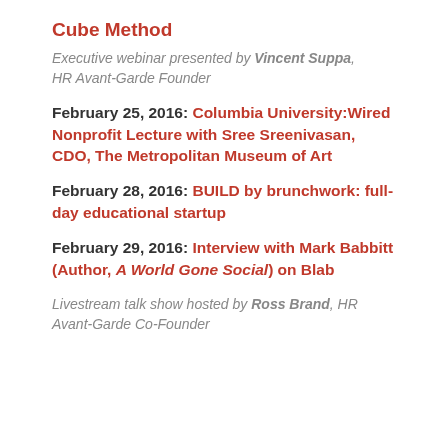Cube Method
Executive webinar presented by Vincent Suppa, HR Avant-Garde Founder
February 25, 2016: Columbia University:Wired Nonprofit Lecture with Sree Sreenivasan, CDO, The Metropolitan Museum of Art
February 28, 2016: BUILD by brunchwork: full-day educational startup
February 29, 2016: Interview with Mark Babbitt (Author, A World Gone Social) on Blab
Livestream talk show hosted by Ross Brand, HR Avant-Garde Co-Founder